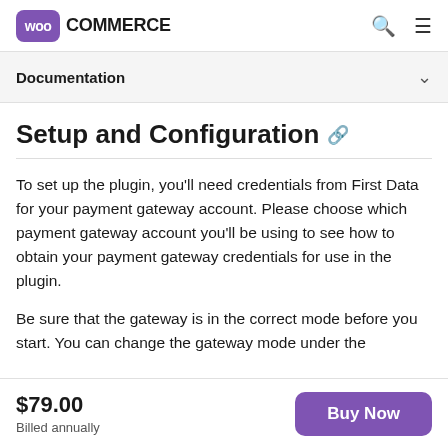WooCommerce
Documentation
Setup and Configuration
To set up the plugin, you'll need credentials from First Data for your payment gateway account. Please choose which payment gateway account you'll be using to see how to obtain your payment gateway credentials for use in the plugin.
Be sure that the gateway is in the correct mode before you start. You can change the gateway mode under the
$79.00 Billed annually | Buy Now